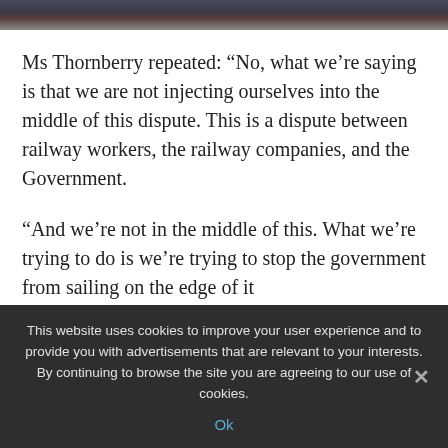[Figure (photo): Partial photo of a man in a suit with a tie, cropped at the top of the page]
Ms Thornberry repeated: “No, what we’re saying is that we are not injecting ourselves into the middle of this dispute. This is a dispute between railway workers, the railway companies, and the Government.
“And we’re not in the middle of this. What we’re trying to do is we’re trying to stop the government from sailing on the edge of it
This website uses cookies to improve your user experience and to provide you with advertisements that are relevant to your interests. By continuing to browse the site you are agreeing to our use of cookies.
Ok